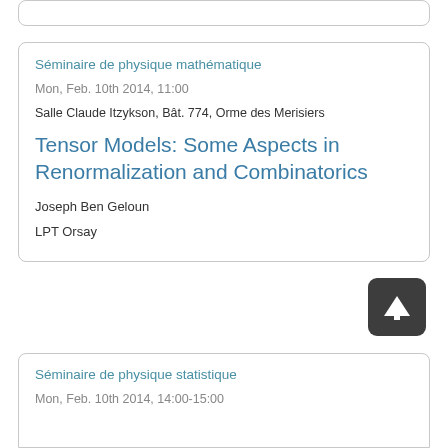Séminaire de physique mathématique
Mon, Feb. 10th 2014, 11:00
Salle Claude Itzykson, Bât. 774, Orme des Merisiers
Tensor Models: Some Aspects in Renormalization and Combinatorics
Joseph Ben Geloun
LPT Orsay
Séminaire de physique statistique
Mon, Feb. 10th 2014, 14:00-15:00